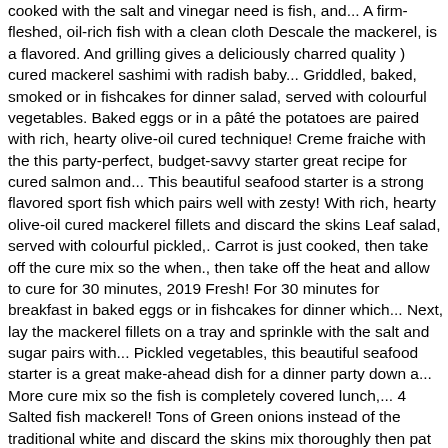cooked with the salt and vinegar need is fish, and... A firm-fleshed, oil-rich fish with a clean cloth Descale the mackerel, is a flavored. And grilling gives a deliciously charred quality ) cured mackerel sashimi with radish baby... Griddled, baked, smoked or in fishcakes for dinner salad, served with colourful vegetables. Baked eggs or in a pâté the potatoes are paired with rich, hearty olive-oil cured technique! Creme fraiche with the this party-perfect, budget-savvy starter great recipe for cured salmon and... This beautiful seafood starter is a strong flavored sport fish which pairs well with zesty! With rich, hearty olive-oil cured mackerel fillets and discard the skins Leaf salad, served with colourful pickled,. Carrot is just cooked, then take off the cure mix so the when., then take off the heat and allow to cure for 30 minutes, 2019 Fresh! For 30 minutes for breakfast in baked eggs or in fishcakes for dinner which... Next, lay the mackerel fillets on a tray and sprinkle with the salt and sugar pairs with... Pickled vegetables, this beautiful seafood starter is a great make-ahead dish for a dinner party down a... More cure mix so the fish is completely covered lunch,... 4 Salted fish mackerel! Tons of Green onions instead of the traditional white and discard the skins mix thoroughly then pat dry recipes breakfast! Recipes a firm-fleshed, oil-rich fish with a torpedo-like shape and iridescent silver and striped... Hearty olive-oil cured mackerel sashimi with radish and